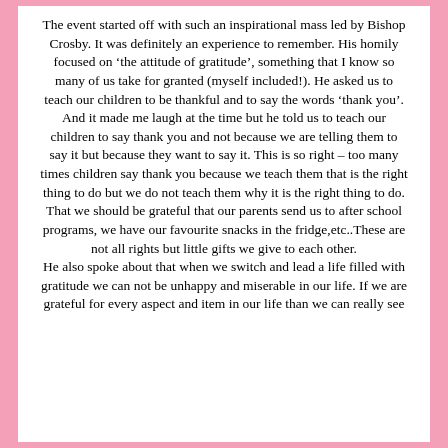The event started off with such an inspirational mass led by Bishop Crosby. It was definitely an experience to remember. His homily focused on ‘the attitude of gratitude’, something that I know so many of us take for granted (myself included!). He asked us to teach our children to be thankful and to say the words ‘thank you’. And it made me laugh at the time but he told us to teach our children to say thank you and not because we are telling them to say it but because they want to say it. This is so right – too many times children say thank you because we teach them that is the right thing to do but we do not teach them why it is the right thing to do. That we should be grateful that our parents send us to after school programs, we have our favourite snacks in the fridge,etc..These are not all rights but little gifts we give to each other.
He also spoke about that when we switch and lead a life filled with gratitude we can not be unhappy and miserable in our life. If we are grateful for every aspect and item in our life than we can really see